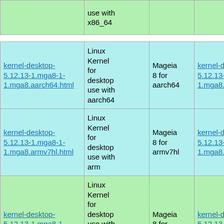|  |  |  |  |
| --- | --- | --- | --- |
| (link) | use with x86_64 |  |  |
| kernel-desktop-5.12.13-1.mga8-1-1.mga8.aarch64.html | Linux Kernel for desktop use with aarch64 | Mageia 8 for aarch64 | kernel-desktop-5.12.13-1.mga8-1-1.mga8.aarch64.rpm |
| kernel-desktop-5.12.13-1.mga8-1-1.mga8.armv7hl.html | Linux Kernel for desktop use with arm | Mageia 8 for armv7hl | kernel-desktop-5.12.13-1.mga8-1-1.mga8.armv7hl.rpm |
| kernel-desktop-5.12.13-1.mga8-1-1.mga8.i586.html | Linux Kernel for desktop use with i686 and less than 4GB RAM | Mageia 8 for i586 | kernel-desktop-5.12.13-1.mga8-1-1.mga8.i586.rpm |
| (link) | Linux... |  |  |